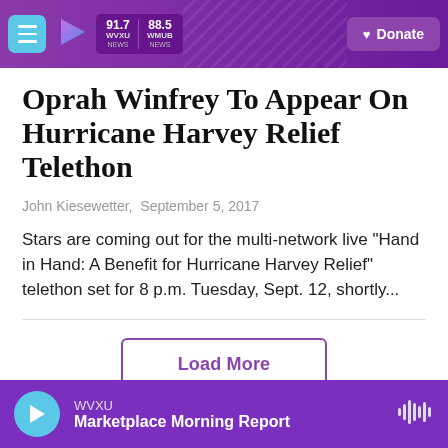WVXU 91.7 / WMUB 88.5 | Donate
Oprah Winfrey To Appear On Hurricane Harvey Relief Telethon
John Kiesewetter,  September 5, 2017
Stars are coming out for the multi-network live "Hand in Hand: A Benefit for Hurricane Harvey Relief" telethon set for 8 p.m. Tuesday, Sept. 12, shortly...
Load More
WVXU | Marketplace Morning Report